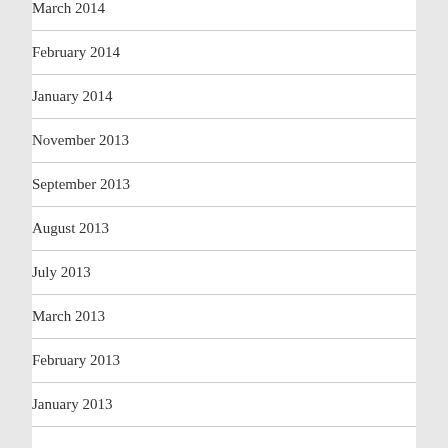March 2014
February 2014
January 2014
November 2013
September 2013
August 2013
July 2013
March 2013
February 2013
January 2013
CATEGORIES
#IAmScience
Events and speakers